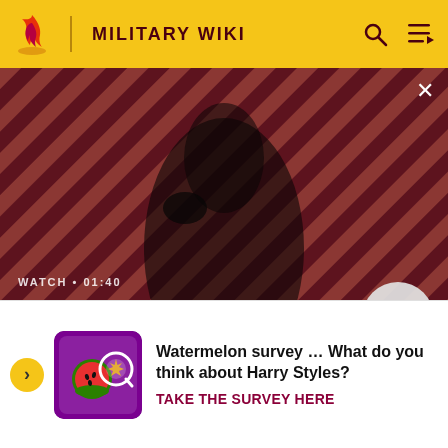MILITARY WIKI
[Figure (screenshot): Video thumbnail for 'The Sandman Will Keep You Awake - The Loop' showing a dark-figured man with a crow on his shoulder against a red diagonal striped background. Shows WATCH • 01:40 label and play button.]
Rongjing's army. Zrs direct superior was Zin Har Zu, the governor of Guangxi, was a former bandit who had ambit... espe... warlo... mutu...
[Figure (screenshot): Survey advertisement: Watermelon survey image with text 'Watermelon survey … What do you think about Harry Styles?' and call-to-action 'TAKE THE SURVEY HERE']